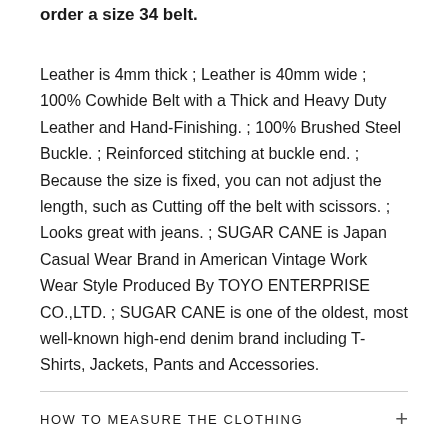order a size 34 belt.
Leather is 4mm thick ; Leather is 40mm wide ; 100% Cowhide Belt with a Thick and Heavy Duty Leather and Hand-Finishing. ; 100% Brushed Steel Buckle. ; Reinforced stitching at buckle end. ; Because the size is fixed, you can not adjust the length, such as Cutting off the belt with scissors. ; Looks great with jeans. ; SUGAR CANE is Japan Casual Wear Brand in American Vintage Work Wear Style Produced By TOYO ENTERPRISE CO.,LTD. ; SUGAR CANE is one of the oldest, most well-known high-end denim brand including T-Shirts, Jackets, Pants and Accessories.
HOW TO MEASURE THE CLOTHING